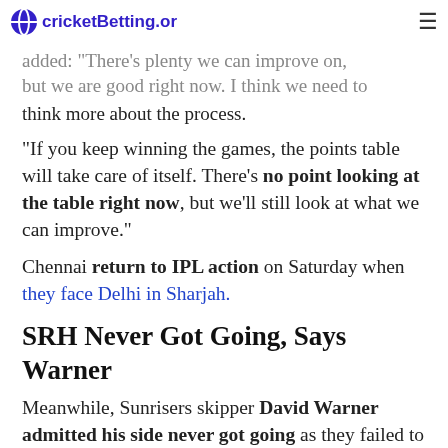cricketBetting.org
added: "There's plenty we can improve on, but we are good right now. I think we need to think more about the process.
"If you keep winning the games, the points table will take care of itself. There's no point looking at the table right now, but we'll still look at what we can improve."
Chennai return to IPL action on Saturday when they face Delhi in Sharjah.
SRH Never Got Going, Says Warner
Meanwhile, Sunrisers skipper David Warner admitted his side never got going as they failed to chase down Chennai's total.
He said: "The chase didn't take flight. The wicket was a tad on the slow side.
"Without the extra batter, you almost err on the